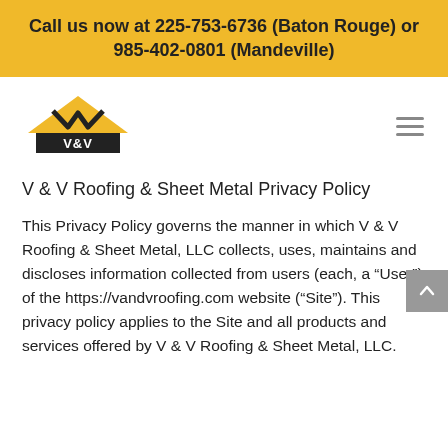Call us now at 225-753-6736 (Baton Rouge) or 985-402-0801 (Mandeville)
[Figure (logo): V & V Roofing & Sheet Metal logo with yellow triangle/house shape and bold V&V text]
V & V Roofing & Sheet Metal Privacy Policy
This Privacy Policy governs the manner in which V & V Roofing & Sheet Metal, LLC collects, uses, maintains and discloses information collected from users (each, a “User”) of the https://vandvroofing.com website (“Site”). This privacy policy applies to the Site and all products and services offered by V & V Roofing & Sheet Metal, LLC.